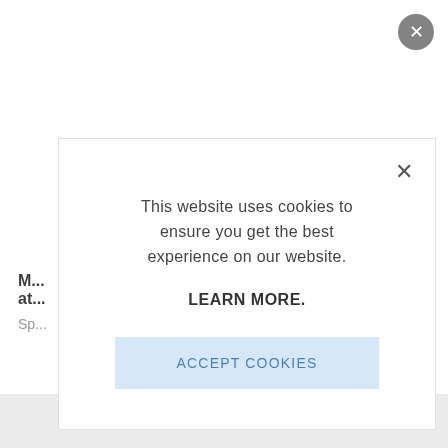[Figure (screenshot): Website background partially visible behind modal — bold text 'M... at...' and gray subtext 'Sp...' with a circular gray close button in top-right corner]
This website uses cookies to ensure you get the best experience on our website.
LEARN MORE.
ACCEPT COOKIES